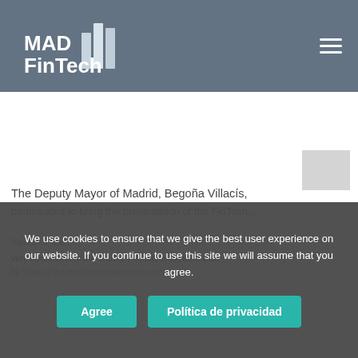[Figure (logo): MAD FinTech logo with bar chart icon in white on grey-blue background, with hamburger menu icon on the right]
The Deputy Mayor of Madrid, Begoña Villacís,
participated to bring the presentation of the FinTech
very successful at the Madrid Fintech ecosystem built
We use cookies to ensure that we give the best user experience on our website. If you continue to use this site we will assume that you agree.
Agree
Política de privacidad